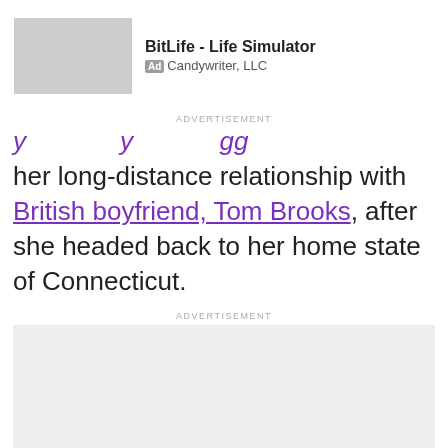[Figure (other): Advertisement banner for BitLife - Life Simulator app by Candywriter, LLC with gray placeholder image]
ADVERTISEMENT
her long-distance relationship with British boyfriend, Tom Brooks, after she headed back to her home state of Connecticut.
ADVERTISEMENT
[Figure (other): Gray advertisement placeholder block]